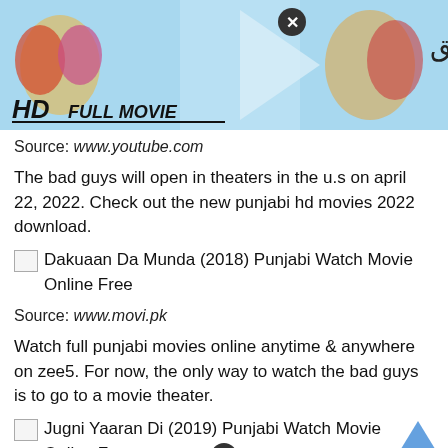[Figure (screenshot): Movie banner with HD FULL MOVIE text and Urdu script title on light blue background with illustrated figures]
Source: www.youtube.com
The bad guys will open in theaters in the u.s on april 22, 2022. Check out the new punjabi hd movies 2022 download.
[Figure (photo): Broken image placeholder for Dakuaan Da Munda (2018) Punjabi Watch Movie Online Free]
Source: www.movi.pk
Watch full punjabi movies online anytime & anywhere on zee5. For now, the only way to watch the bad guys is to go to a movie theater.
[Figure (photo): Broken image placeholder for Jugni Yaaran Di (2019) Punjabi Watch Movie Online Free]